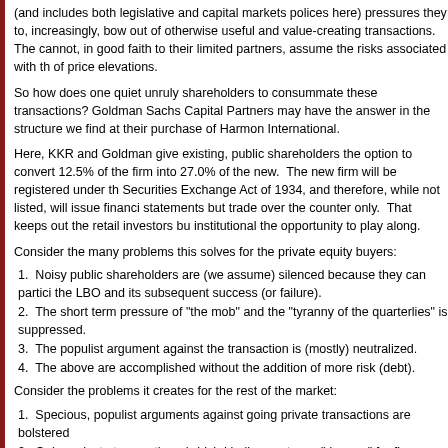(and includes both legislative and capital markets polices here) pressures they to, increasingly, bow out of otherwise useful and value-creating transactions. The cannot, in good faith to their limited partners, assume the risks associated with the of price elevations.
So how does one quiet unruly shareholders to consummate these transactions? Goldman Sachs Capital Partners may have the answer in the structure we find at their purchase of Harmon International.
Here, KKR and Goldman give existing, public shareholders the option to convert 12.5% of the firm into 27.0% of the new.  The new firm will be registered under the Securities Exchange Act of 1934, and therefore, while not listed, will issue financial statements but trade over the counter only.  That keeps out the retail investors but institutional the opportunity to play along.
Consider the many problems this solves for the private equity buyers:
1.  Noisy public shareholders are (we assume) silenced because they can participate in the LBO and its subsequent success (or failure).
2.  The short term pressure of "the mob" and the "tyranny of the quarterlies" is suppressed.
3.  The populist argument against the transaction is (mostly) neutralized.
4.  The above are accomplished without the addition of more risk (debt).
Consider the problems it creates for the rest of the market:
1.  Specious, populist arguments against going private transactions are bolstered.
2.  Going private transactions (which I believe act as a "do-over" for firms which t